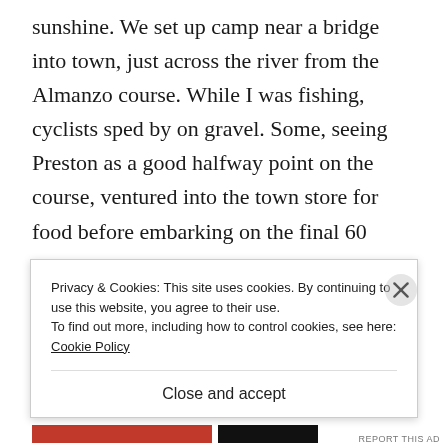sunshine. We set up camp near a bridge into town, just across the river from the Almanzo course. While I was fishing, cyclists sped by on gravel. Some, seeing Preston as a good halfway point on the course, ventured into the town store for food before embarking on the final 60 miles. The trout didn't seem to mind the traffic.
The Root River greeted me with a caddis hatch.
B...
Privacy & Cookies: This site uses cookies. By continuing to use this website, you agree to their use.
To find out more, including how to control cookies, see here: Cookie Policy
Close and accept
REPORT THIS AD